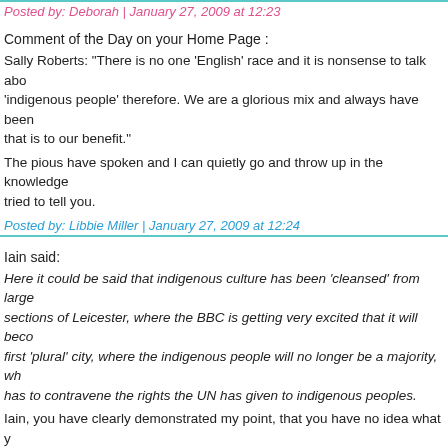Posted by: Deborah | January 27, 2009 at 12:23
Comment of the Day on your Home Page :
Sally Roberts: "There is no one 'English' race and it is nonsense to talk about 'indigenous people' therefore. We are a glorious mix and always have been that is to our benefit."
The pious have spoken and I can quietly go and throw up in the knowledge tried to tell you.
Posted by: Libbie Miller | January 27, 2009 at 12:24
Iain said:
Here it could be said that indigenous culture has been 'cleansed' from large sections of Leicester, where the BBC is getting very excited that it will become first 'plural' city, where the indigenous people will no longer be a majority, which has to contravene the rights the UN has given to indigenous peoples.
Iain, you have clearly demonstrated my point, that you have no idea what you are talking about, and are nursing an enormous and undeserved sense of grievance. Did a person of ethnic origin kill your puppy?
"Ethnic cleansing is a euphemism referring to the persecution through